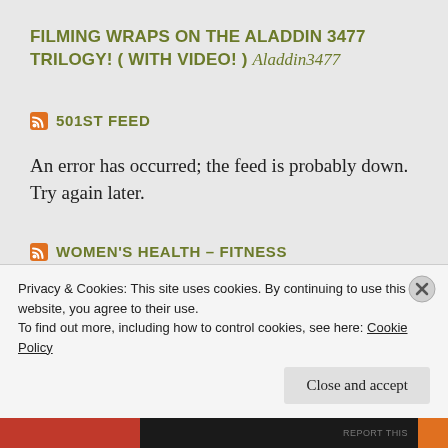FILMING WRAPS ON THE ALADDIN 3477 TRILOGY! ( WITH VIDEO! ) Aladdin3477
501ST FEED
An error has occurred; the feed is probably down. Try again later.
WOMEN'S HEALTH – FITNESS
Privacy & Cookies: This site uses cookies. By continuing to use this website, you agree to their use.
To find out more, including how to control cookies, see here: Cookie Policy
Close and accept